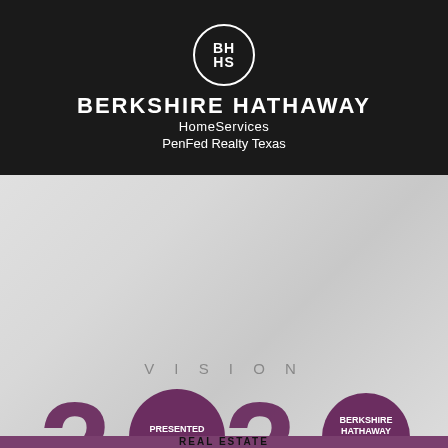[Figure (logo): Berkshire Hathaway HomeServices logo circle with BH HS text]
BERKSHIRE HATHAWAY HomeServices PenFed Realty Texas
[Figure (infographic): Vision 2020 event graphic with large purple 2020 numbers on geometric background, PRESENTED BY label and BHHS PenFed Realty Texas logo]
START THE YEAR SEEING 20/20
»»»» LIVE EVENT! «««
RESERVE YOUR SEAT NOW
REAL ESTATE